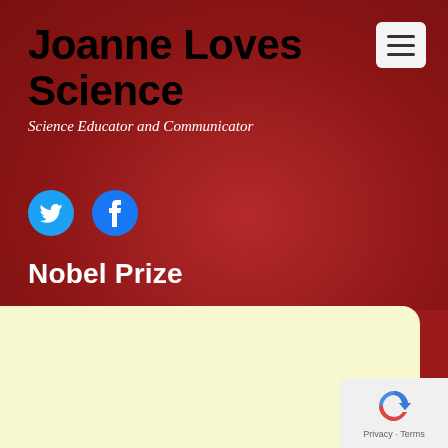Joanne Loves Science
Science Educator and Communicator
[Figure (illustration): Twitter and Facebook social media icon buttons (circular icons with bird and f logos)]
Nobel Prize
[Figure (other): Light yellow content card area (empty)]
[Figure (other): reCAPTCHA badge with Privacy and Terms text]